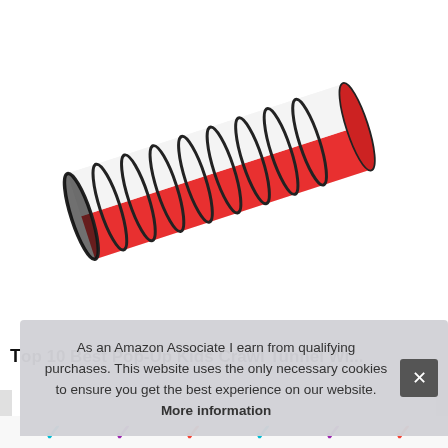[Figure (photo): A red and white children's pop-up play tunnel, cylindrical in shape with black wire frame hoops, shown at a diagonal angle on a white background.]
Top 10 Best Pop-Up Kids Crawl Tunnel With...
As an Amazon Associate I earn from qualifying purchases. This website uses the only necessary cookies to ensure you get the best experience on our website. More information